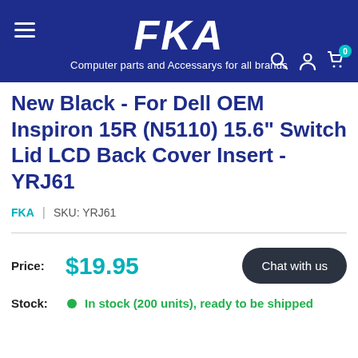FKA — Computer parts and Accessarys for all brands
New Black - For Dell OEM Inspiron 15R (N5110) 15.6" Switch Lid LCD Back Cover Insert - YRJ61
FKA | SKU: YRJ61
Price: $19.95
Chat with us
Stock: In stock (200 units), ready to be shipped